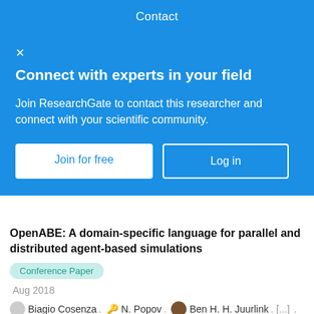Contact
[Figure (screenshot): ResearchGate modal overlay with blue background: 'Connect with experts in your field' with Join for free and Log in buttons]
OpenABE: A domain-specific language for parallel and distributed agent-based simulations
Conference Paper
Aug 2018
Biagio Cosenza · N. Popov · Ben H. H. Juurlink · [...] · Vittorio Scarano
Agent-based simulations are becoming widespread among scientists from different areas, who use them to model increasingly complex problems. To cope with the growing computational complexity, parallel and distributed implementations have been developed for a wide range of